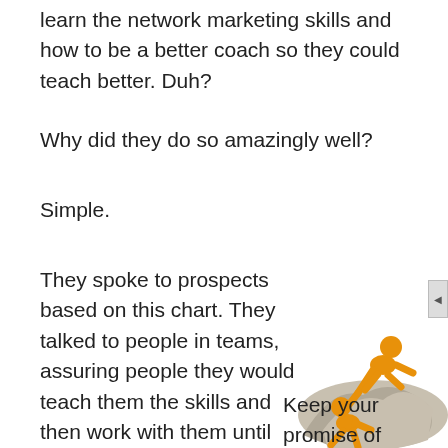learn the network marketing skills and how to be a better coach so they could teach better. Duh?
Why did they do so amazingly well?
Simple.
They spoke to prospects based on this chart. They talked to people in teams, assuring people they would teach them the skills and then work with them until they hit
[Figure (illustration): Two orange 3D figures, one helping the other climb up a rocky surface, symbolizing teamwork and support.]
Keep your promise of